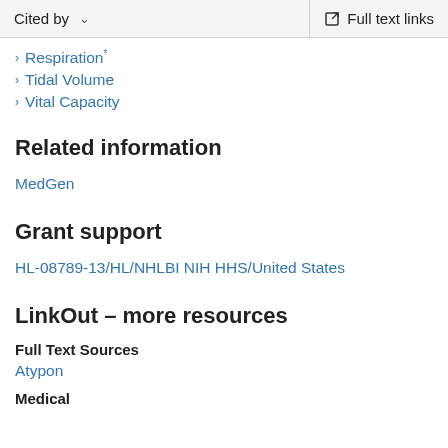Cited by   ∨   Full text links
Respiration*
Tidal Volume
Vital Capacity
Related information
MedGen
Grant support
HL-08789-13/HL/NHLBI NIH HHS/United States
LinkOut – more resources
Full Text Sources
Atypon
Medical